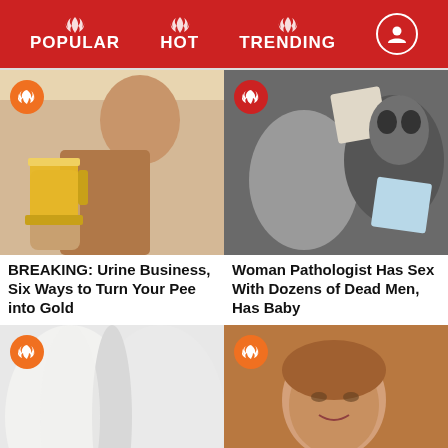POPULAR  HOT  TRENDING
[Figure (photo): Young woman holding a large beer mug]
BREAKING: Urine Business, Six Ways to Turn Your Pee into Gold
[Figure (photo): Collage of a glamorous woman, a tattooed skull figure, and baby photos in black and white]
Woman Pathologist Has Sex With Dozens of Dead Men, Has Baby
[Figure (photo): Close-up of white fabric or skin folds]
I Asked My Friend to
[Figure (photo): Older woman with short hair smiling, holding a flower]
TV Conspiracy Theory: